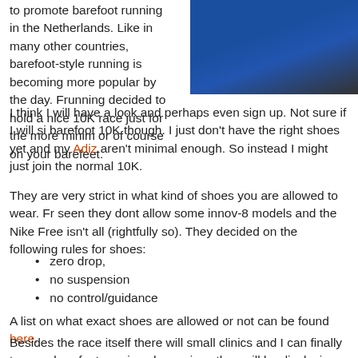[Figure (photo): Photo of a running shoe on a blue background, partially visible in the top-right corner of the page.]
to promote barefoot running in the Netherlands. Like in many other countries, barefoot-style running is becoming more popular by the day. Frunning decided to hold a nice 10K race just for the more minim... or of course on your barefeet.
I think I will have a look and perhaps even sign up. Not sure if I will si... barefoot 10K though. I just don't have the right shoes yet and my Adiz... aren't minimal enough. So instead I might just join the normal 10K.
They are very strict in what kind of shoes you are allowed to wear. Fr... seen they dont allow some innov-8 models and the Nike Free isn't all... (rightfully so). They decided on the following rules for shoes:
zero drop,
no suspension
no control/guidance
A list on what exact shoes are allowed or not can be found here.
Besides the race itself there will small clinics and I can finally try on s... barefoot running shoes since they will be displaying some. No shops... carry any of the barefoot shoes so I will definately go and check it ou... what they mean with the specific barefoot running style. I wonder how...